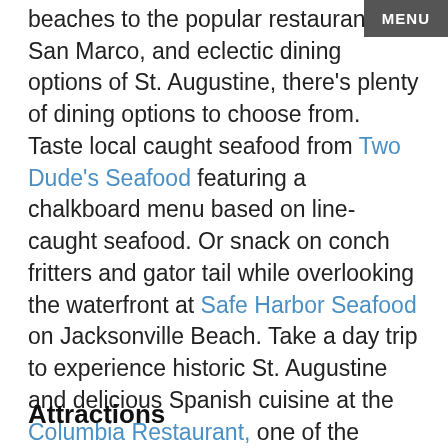MENU
beaches to the popular restaurants of San Marco, and eclectic dining options of St. Augustine, there's plenty of dining options to choose from. Taste local caught seafood from Two Dude's Seafood featuring a chalkboard menu based on line-caught seafood. Or snack on conch fritters and gator tail while overlooking the waterfront at Safe Harbor Seafood on Jacksonville Beach. Take a day trip to experience historic St. Augustine and delicious Spanish cuisine at the Columbia Restaurant, one of the state's oldest restaurants.
Attractions